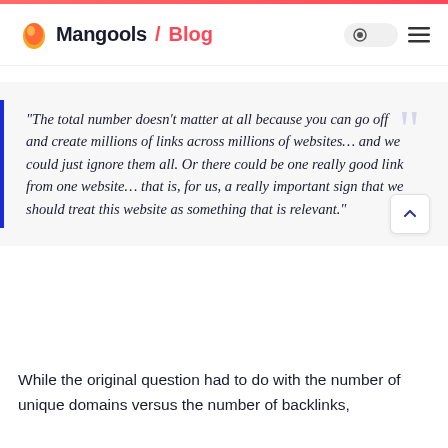Mangools / Blog
“The total number doesn’t matter at all because you can go off and create millions of links across millions of websites… and we could just ignore them all. Or there could be one really good link from one website… that is, for us, a really important sign that we should treat this website as something that is relevant.”
While the original question had to do with the number of unique domains versus the number of backlinks,